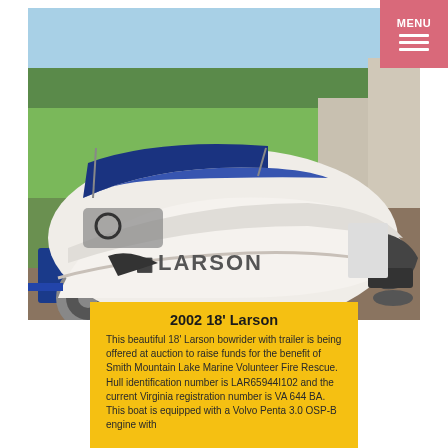[Figure (photo): A white Larson bowrider boat on a blue trailer, viewed from the stern showing the Volvo Penta outdrive engine. The boat has a blue bimini top raised. Background shows green trees, grass, and a concrete driveway/garage area on a sunny day.]
2002 18' Larson
This beautiful 18' Larson bowrider with trailer is being offered at auction to raise funds for the benefit of Smith Mountain Lake Marine Volunteer Fire Rescue. Hull identification number is LAR65944I102 and the current Virginia registration number is VA 644 BA. This boat is equipped with a Volvo Penta 3.0 OSP-B engine with